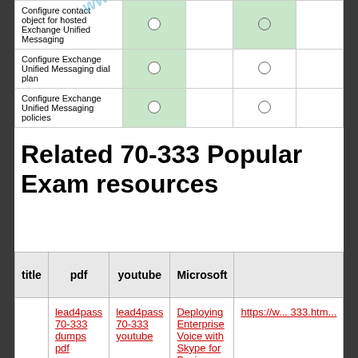|  |  |  |  |  |
| --- | --- | --- | --- | --- |
| Configure contact object for hosted Exchange Unified Messaging | ○ (green) |  | ● (green) |  |
| Configure Exchange Unified Messaging dial plan | ○ (green) |  | ○ |  |
| Configure Exchange Unified Messaging policies | ○ (green) |  | ○ |  |
Related 70-333 Popular Exam resources
| title | pdf | youtube | Microsoft |  |
| --- | --- | --- | --- | --- |
|  | lead4pass 70-333 dumps pdf | lead4pass 70-333 youtube | Deploying Enterprise Voice with Skype for Business 2015 | https://w...333.htm... |
|  | lead4pass |  | Installing and |  |